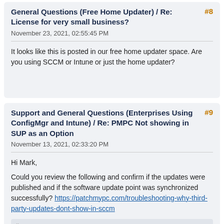General Questions (Free Home Updater) / Re: License for very small business?
November 23, 2021, 02:55:45 PM
It looks like this is posted in our free home updater space. Are you using SCCM or Intune or just the home updater?
Support and General Questions (Enterprises Using ConfigMgr and Intune) / Re: PMPC Not showing in SUP as an Option
November 13, 2021, 02:33:20 PM
Hi Mark,
Could you review the following and confirm if the updates were published and if the software update point was synchronized successfully? https://patchmypc.com/troubleshooting-why-third-party-updates-dont-show-in-sccm
Quote from: markjames on November 13, 2021, 02:50:03 AM